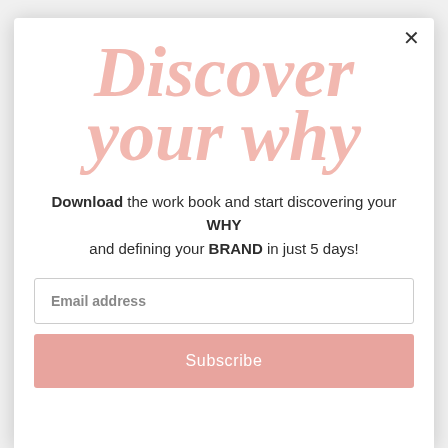Discover your why
Download the work book and start discovering your WHY and defining your BRAND in just 5 days!
Email address
Subscribe